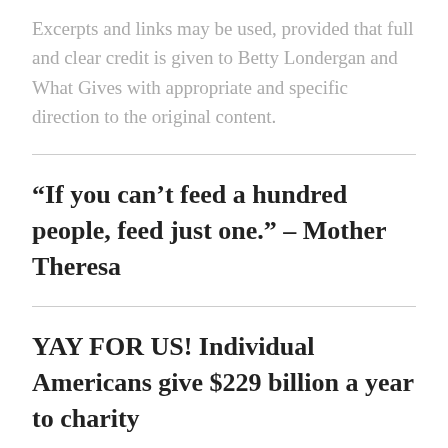Excerpts and links may be used, provided that full and clear credit is given to Betty Londergan and What Gives with appropriate and specific direction to the original content.
“If you can’t feed a hundred people, feed just one.” – Mother Theresa
YAY FOR US! Individual Americans give $229 billion a year to charity